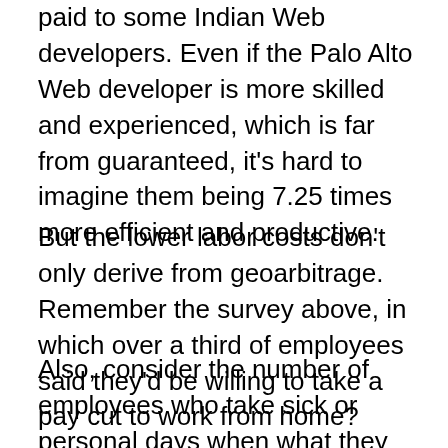paid to some Indian Web developers. Even if the Palo Alto Web developer is more skilled and experienced, which is far from guaranteed, it's hard to imagine them being 7.25 times more efficient and productive.
But the lower labor costs don't only derive from geoarbitrage. Remember the survey above, in which over a third of employees said they'd be willing to take a pay cut to work from home?
Also, consider the number of employees who take sick or personal days when what they really need is simply to be in the house while their sick daughter sleeps upstairs. Maybe they want the flexibility to run an important errand for one hour, or maybe they just didn't feel like getting dressed that